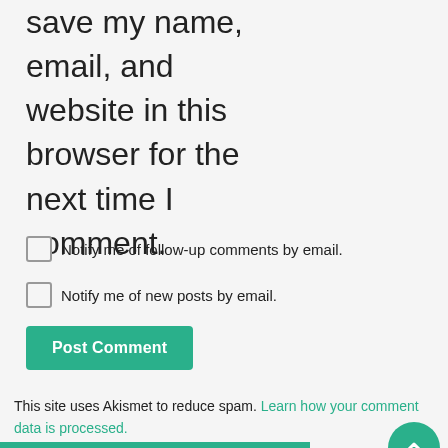Save my name, email, and website in this browser for the next time I comment.
Notify me of follow-up comments by email.
Notify me of new posts by email.
Post Comment
This site uses Akismet to reduce spam. Learn how your comment data is processed.
SEARCH BY GOOGLE